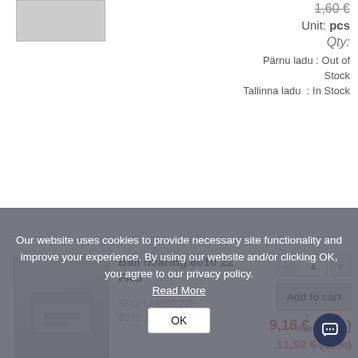1,60 €
Unit: pcs
Qty:
Pärnu ladu : Out of Stock
Tallinna ladu : In Stock
Ball bearing 6010 2Z FAG
SKU: LA6010 2ZF
1
Add to cart
9,18 € (10%)
10,20 €
Unit: pcs
Qty:
Tallinna ladu : In Stock
Our website uses cookies to provide necessary site functionality and improve your experience. By using our website and/or clicking OK, you agree to our privacy policy.
Read More
OK
1
Add to ca...
6010 2ZS
11,92 € (10%)